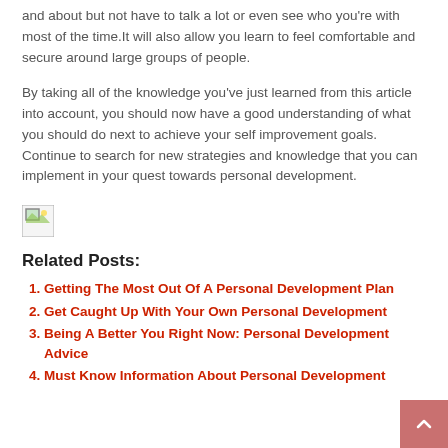and about but not have to talk a lot or even see who you're with most of the time.It will also allow you learn to feel comfortable and secure around large groups of people.
By taking all of the knowledge you've just learned from this article into account, you should now have a good understanding of what you should do next to achieve your self improvement goals. Continue to search for new strategies and knowledge that you can implement in your quest towards personal development.
[Figure (other): Broken image placeholder icon]
Related Posts:
Getting The Most Out Of A Personal Development Plan
Get Caught Up With Your Own Personal Development
Being A Better You Right Now: Personal Development Advice
Must Know Information About Personal Development